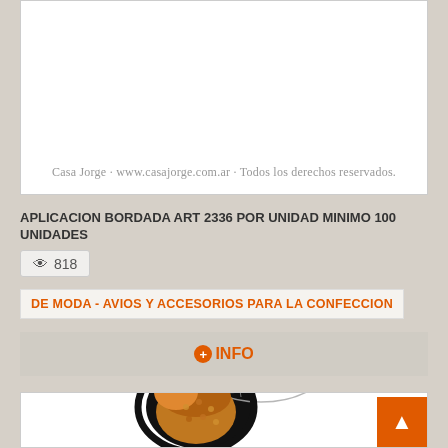[Figure (photo): Product image area with watermark text at the bottom reading: Casa Jorge - www.casajorge.com.ar - Todos los derechos reservados.]
APLICACION BORDADA ART 2336 POR UNIDAD MINIMO 100 UNIDADES
818 views
DE MODA - AVIOS Y ACCESORIOS PARA LA CONFECCION
+INFO
[Figure (photo): Embroidered bee patch on black background with detailed wing and body embroidery in gold, brown, and silver tones.]